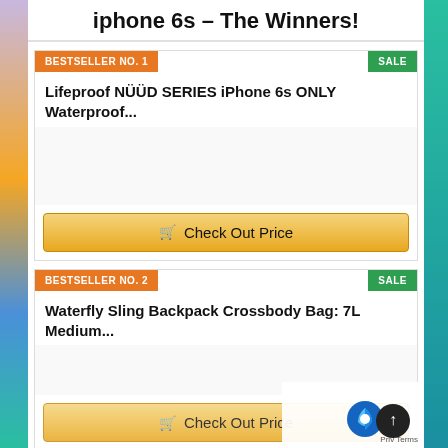iphone 6s – The Winners!
BESTSELLER NO. 1
SALE
Lifeproof NÜÜD SERIES iPhone 6s ONLY Waterproof...
Check Out Price
BESTSELLER NO. 2
SALE
Waterfly Sling Backpack Crossbody Bag: 7L Medium...
Check Out Price
Privacy  Terms